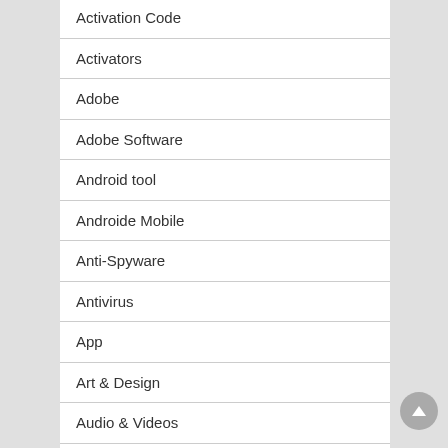Activation Code
Activators
Adobe
Adobe Software
Android tool
Androide Mobile
Anti-Spyware
Antivirus
App
Art & Design
Audio & Videos
Audio Editor